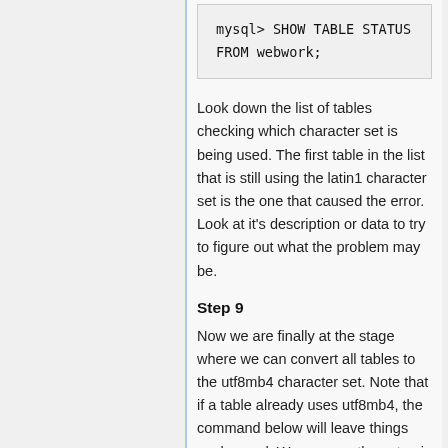mysql> SHOW TABLE STATUS FROM webwork;
Look down the list of tables checking which character set is being used. The first table in the list that is still using the latin1 character set is the one that caused the error. Look at it's description or data to try to figure out what the problem may be.
Step 9
Now we are finally at the stage where we can convert all tables to the utf8mb4 character set. Note that if a table already uses utf8mb4, the command below will leave things unchanged. We assume the setup is as in Step 8 above where you are either acting as root or are using the